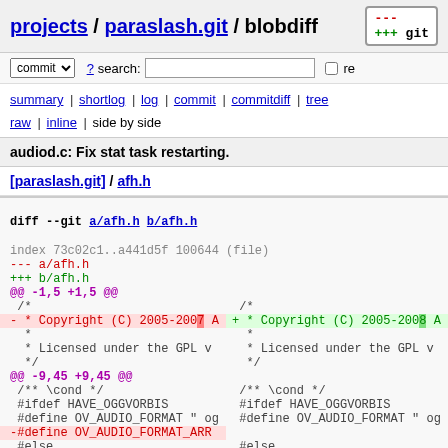projects / paraslash.git / blobdiff
commit ? search: re
summary | shortlog | log | commit | commitdiff | tree
raw | inline | side by side
audiod.c: Fix stat task restarting.
[paraslash.git] / afh.h
[Figure (screenshot): Git blobdiff output showing side-by-side diff of afh.h: diff --git a/afh.h b/afh.h, index 73c02c1..a441d5f 100644, --- a/afh.h, +++ b/afh.h, @@ -1,5 +1,5 @@, copyright line changed from 2005-2007 to 2005-2008, @@ -9,45 +9,45 @@, changes to OV_AUDIO_FORMAT_ARR definition removed]